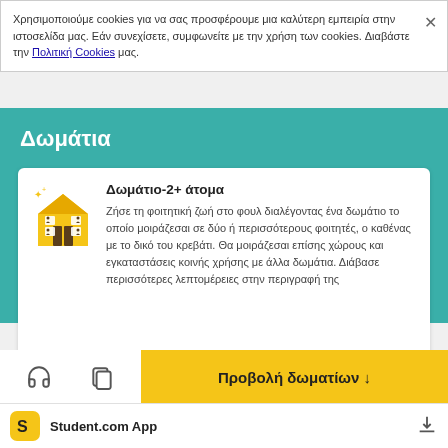Χρησιμοποιούμε cookies για να σας προσφέρουμε μια καλύτερη εμπειρία στην ιστοσελίδα μας. Εάν συνεχίσετε, συμφωνείτε με την χρήση των cookies. Διαβάστε την Πολιτική Cookies μας.
Δωμάτια
Δωμάτιο-2+ άτομα
Ζήσε τη φοιτητική ζωή στο φουλ διαλέγοντας ένα δωμάτιο το οποίο μοιράζεσαι σε δύο ή περισσότερους φοιτητές, ο καθένας με το δικό του κρεβάτι. Θα μοιράζεσαι επίσης χώρους και εγκαταστάσεις κοινής χρήσης με άλλα δωμάτια. Διάβασε περισσότερες λεπτομέρειες στην περιγραφή της
Προβολή δωματίων ↓
Student.com App